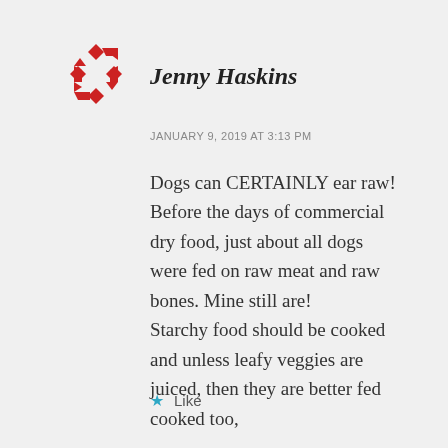[Figure (logo): Red geometric star/pinwheel logo made of triangular arrow shapes]
Jenny Haskins
JANUARY 9, 2019 AT 3:13 PM
Dogs can CERTAINLY ear raw! Before the days of commercial dry food, just about all dogs were fed on raw meat and raw bones. Mine still are! Starchy food should be cooked and unless leafy veggies are juiced, then they are better fed cooked too,
★ Like